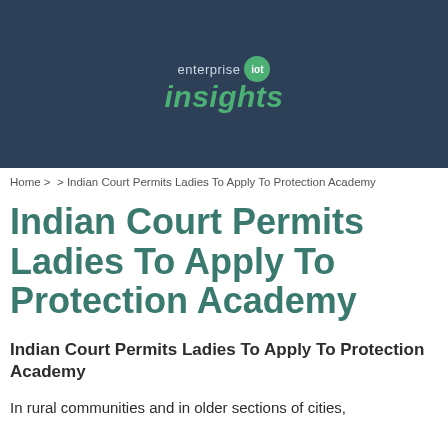[Figure (logo): Enterprise IoT Insights logo with green circle badge and green 'insights' text on dark blue background]
Home >  > Indian Court Permits Ladies To Apply To Protection Academy
Indian Court Permits Ladies To Apply To Protection Academy
Indian Court Permits Ladies To Apply To Protection Academy
In rural communities and in older sections of cities,